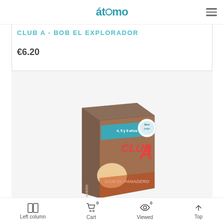átomo
CLUB A - BOB EL EXPLORADOR
€6.20
[Figure (photo): Product box of 'Club A - Dani el Panadero' children's book/game with illustrated cover showing a character and the Club A logo]
Left column | Cart 0 | Viewed 0 | Top